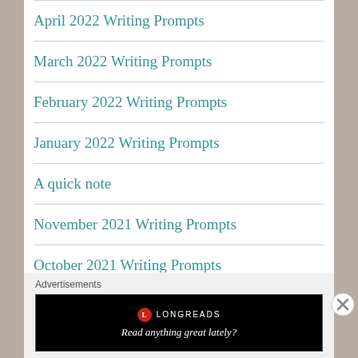April 2022 Writing Prompts
March 2022 Writing Prompts
February 2022 Writing Prompts
January 2022 Writing Prompts
A quick note
November 2021 Writing Prompts
October 2021 Writing Prompts
Tales from the waterhole
Advertisements
[Figure (other): Longreads advertisement banner: circular red logo with 'L', text 'LONGREADS', tagline 'Read anything great lately?']